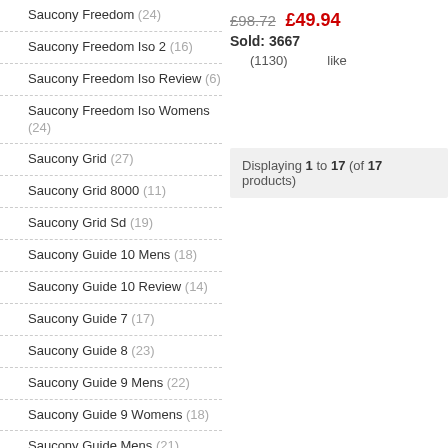Saucony Freedom (24)
Saucony Freedom Iso 2 (16)
Saucony Freedom Iso Review (6)
Saucony Freedom Iso Womens (24)
Saucony Grid (27)
Saucony Grid 8000 (11)
Saucony Grid Sd (19)
Saucony Guide 10 Mens (18)
Saucony Guide 10 Review (14)
Saucony Guide 7 (17)
Saucony Guide 8 (23)
Saucony Guide 9 Mens (22)
Saucony Guide 9 Womens (18)
Saucony Guide Mens (21)
Saucony Guide Womens (21)
£98.72  £49.94  Sold: 3667  (1130)  like
Displaying 1 to 17 (of 17 products)